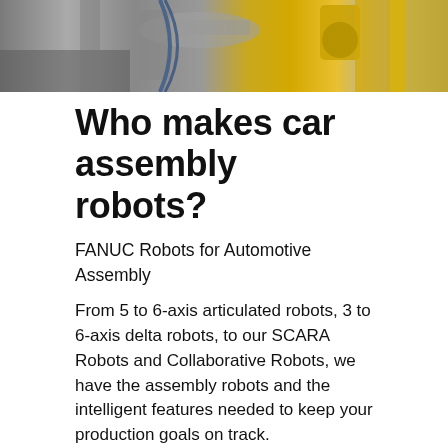[Figure (photo): Industrial robotic arms in an automotive assembly setting, with yellow FANUC robots visible against a metallic industrial background]
Who makes car assembly robots?
FANUC Robots for Automotive Assembly
From 5 to 6-axis articulated robots, 3 to 6-axis delta robots, to our SCARA Robots and Collaborative Robots, we have the assembly robots and the intelligent features needed to keep your production goals on track.
How many robots are in use today?
The World Robotics 2020 Industrial Robots